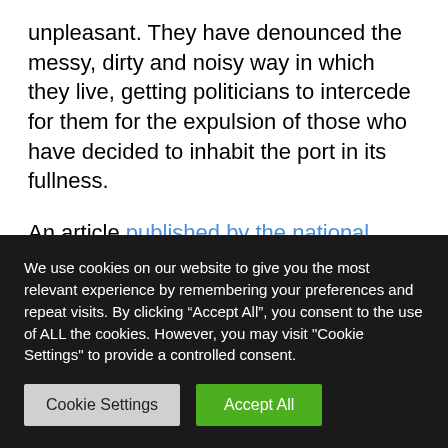unpleasant. They have denounced the messy, dirty and noisy way in which they live, getting politicians to intercede for them for the expulsion of those who have decided to inhabit the port in its fullness.
An article published by the national media TV2 reflects the contrast between the neighbors of Holmen and the people of the floating community. Meanwhile the first ones “are angry because they have to see a floating
We use cookies on our website to give you the most relevant experience by remembering your preferences and repeat visits. By clicking “Accept All”, you consent to the use of ALL the cookies. However, you may visit "Cookie Settings" to provide a controlled consent.